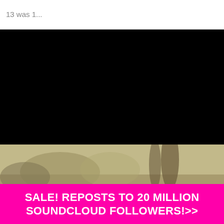13 was 1...
[Figure (photo): Black video/image area (redacted or unloaded video frame)]
[Figure (photo): Outdoor scene with trees and sandy/dry ground, blurred photograph]
SALE! REPOSTS TO 20 MILLION SOUNDCLOUD FOLLOWERS!>>